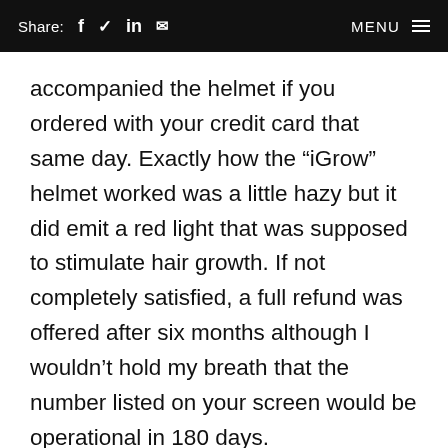Share: f  in  [mail]   MENU
accompanied the helmet if you ordered with your credit card that same day. Exactly how the “iGrow” helmet worked was a little hazy but it did emit a red light that was supposed to stimulate hair growth. If not completely satisfied, a full refund was offered after six months although I wouldn’t hold my breath that the number listed on your screen would be operational in 180 days.